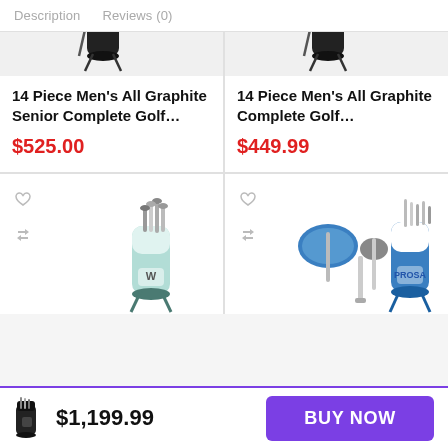Description   Reviews (0)
14 Piece Men’s All Graphite Senior Complete Golf…
$525.00
14 Piece Men’s All Graphite Complete Golf…
$449.99
[Figure (photo): Golf club set with bag, bottom-left product image]
[Figure (photo): Golf club set with blue bag, bottom-right product image]
$1,199.99
BUY NOW